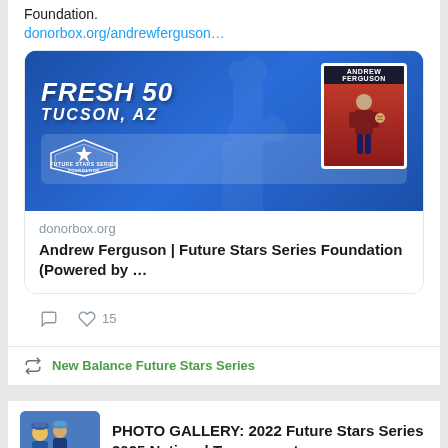Foundation.
donorbox.org/andrewferguson…
[Figure (screenshot): Link preview card showing a blue promotional image with 'FRESH 50 TUCSON, AZ' text and Future Stars Series Foundation logo, with an Andrew Ferguson player card on the right. Below the image shows donorbox.org domain and title 'Andrew Ferguson | Future Stars Series Foundation (Powered by …']
15
New Balance Future Stars Series
PHOTO GALLERY: 2022 Future Stars Series 2025 National Tournament